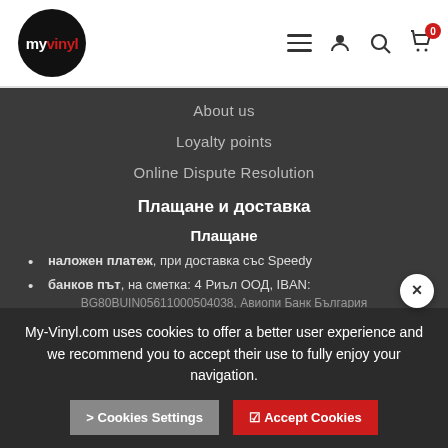[Figure (logo): myvinyl logo — black circle with white 'my' text and red 'vinyl' text]
[Figure (infographic): Navigation header icons: hamburger menu, person/account icon, search magnifier, shopping cart with badge showing 0]
About us
Loyalty points
Online Dispute Resolution
Плащане и доставка
Плащане
наложен платеж, при доставка със Speedy
банков път, на сметка: 4 Риъл ООД, IBAN:
BG80BUIN05611000504038, Авиопи Банк България
My-Vinyl.com uses cookies to offer a better user experience and we recommend you to accept their use to fully enjoy your navigation.